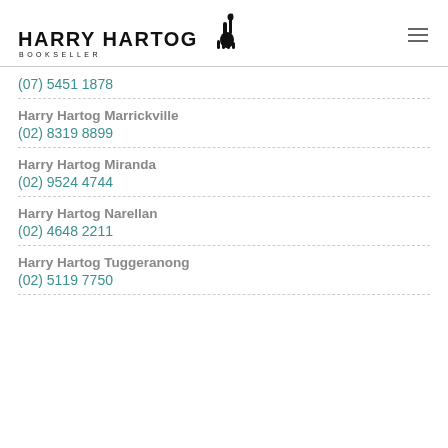[Figure (logo): Harry Hartog Bookseller logo with giraffe silhouette]
(07) 5451 1878
Harry Hartog Marrickville
(02) 8319 8899
Harry Hartog Miranda
(02) 9524 4744
Harry Hartog Narellan
(02) 4648 2211
Harry Hartog Tuggeranong
(02) 5119 7750